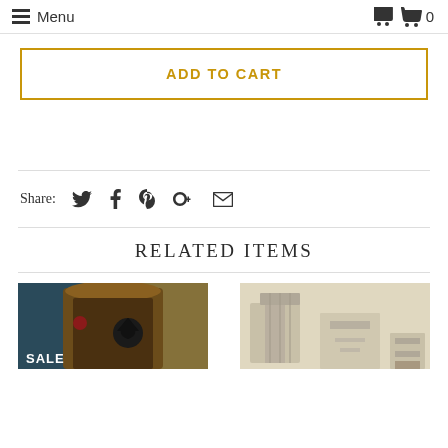Menu  0
ADD TO CART
Share:
RELATED ITEMS
[Figure (photo): Two product thumbnail images below RELATED ITEMS section. Left image shows a dark wooden cabinet with butterfly motif and a SALE badge. Right image shows a light-colored interior scene with chair.]